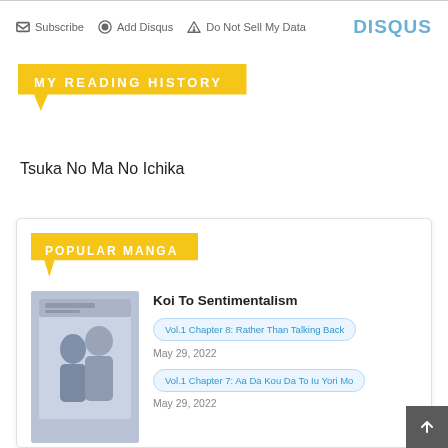Subscribe  Add Disqus  Do Not Sell My Data  DISQUS
MY READING HISTORY
Tsuka No Ma No Ichika
POPULAR MANGA
Koi To Sentimentalism
Vol.1 Chapter 8: Rather Than Talking Back
May 29, 2022
Vol.1 Chapter 7: Aa Da Kou Da To Iu Yori Mo
May 29, 2022